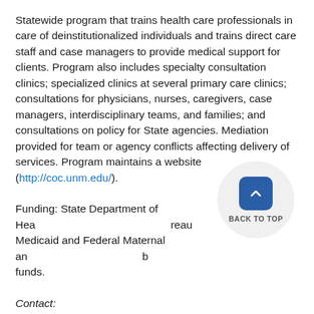Statewide program that trains health care professionals in care of deinstitutionalized individuals and trains direct care staff and case managers to provide medical support for clients. Program also includes specialty consultation clinics; specialized clinics at several primary care clinics; consultations for physicians, nurses, caregivers, case managers, interdisciplinary teams, and families; and consultations on policy for State agencies. Mediation provided for team or agency conflicts affecting delivery of services. Program maintains a website (http://coc.unm.edu/).
Funding: State Department of Health, Medicaid and Federal Maternal and Child Health Bureau funds.
Contact:
Jennifer Thorne-Lehman
Senior Program Manager